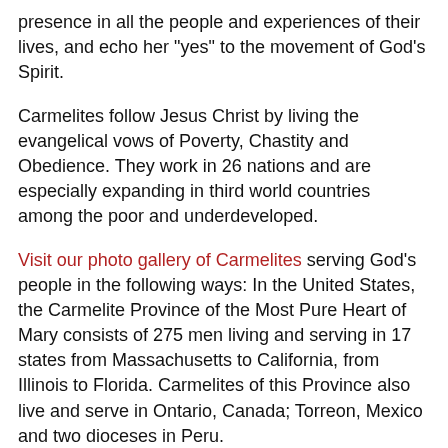presence in all the people and experiences of their lives, and echo her "yes" to the movement of God's Spirit.
Carmelites follow Jesus Christ by living the evangelical vows of Poverty, Chastity and Obedience. They work in 26 nations and are especially expanding in third world countries among the poor and underdeveloped.
Visit our photo gallery of Carmelites serving God's people in the following ways: In the United States, the Carmelite Province of the Most Pure Heart of Mary consists of 275 men living and serving in 17 states from Massachusetts to California, from Illinois to Florida. Carmelites of this Province also live and serve in Ontario, Canada; Torreon, Mexico and two dioceses in Peru.
All Carmelites in ministry seek to announce God's presence within the human experience and denounce whatever injustice limits God's presence among His children.